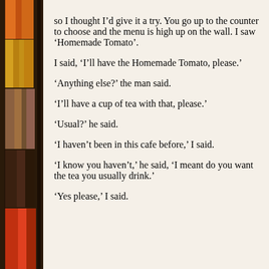[Figure (photo): Bookshelf with colorful book spines on the left side of the page]
so I thought I'd give it a try. You go up to the counter to choose and the menu is high up on the wall. I saw ‘Homemade Tomato’.

I said, ‘I’ll have the Homemade Tomato, please.’

‘Anything else?’ the man said.

‘I’ll have a cup of tea with that, please.’

‘Usual?’ he said.

‘I haven’t been in this cafe before,’ I said.

‘I know you haven’t,’ he said, ‘I meant do you want the tea you usually drink.’

‘Yes please,’ I said.